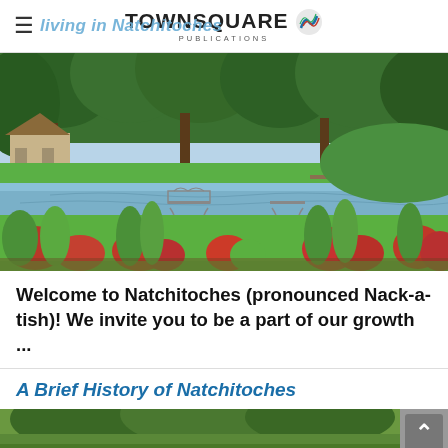TOWNSQUARE PUBLICATIONS
Living in Natchitoches
[Figure (photo): Scenic park view in Natchitoches with a pond, iron benches, and colorful flower beds with red flowers and tropical plants, surrounded by lush green trees]
Welcome to Natchitoches (pronounced Nack-a-tish)! We invite you to be a part of our growth ...
A Brief History of Natchitoches
[Figure (photo): Partial view of trees and outdoor scenery in Natchitoches at the bottom of the page]